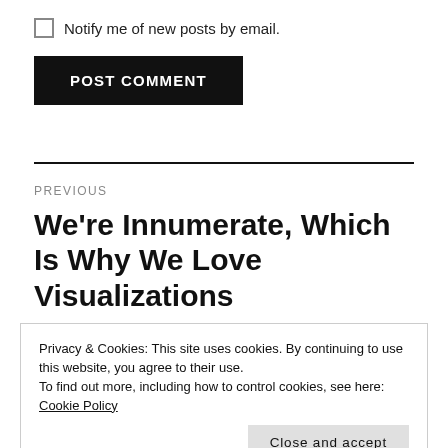Notify me of new posts by email.
POST COMMENT
PREVIOUS
We're Innumerate, Which Is Why We Love Visualizations
Privacy & Cookies: This site uses cookies. By continuing to use this website, you agree to their use.
To find out more, including how to control cookies, see here: Cookie Policy
Close and accept